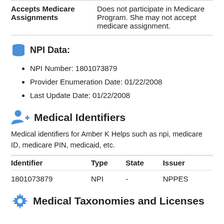|  |  |
| --- | --- |
| Accepts Medicare Assignments | Does not participate in Medicare Program. She may not accept medicare assignment. |
NPI Data:
NPI Number: 1801073879
Provider Enumeration Date: 01/22/2008
Last Update Date: 01/22/2008
Medical Identifiers
Medical identifiers for Amber K Helps such as npi, medicare ID, medicare PIN, medicaid, etc.
| Identifier | Type | State | Issuer |
| --- | --- | --- | --- |
| 1801073879 | NPI | - | NPPES |
Medical Taxonomies and Licenses